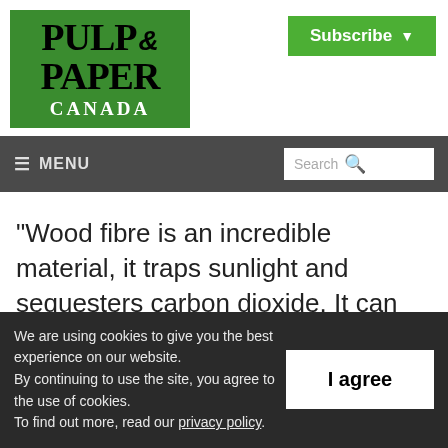[Figure (logo): Pulp & Paper Canada logo — green background with black serif text reading PULP & PAPER CANADA]
[Figure (other): Subscribe button — green rectangle with white bold text 'Subscribe' and dropdown arrow]
≡ MENU   Search
“Wood fibre is an incredible material, it traps sunlight and sequesters carbon dioxide. It can shelter us in renewable, environmentally friendly...
We are using cookies to give you the best experience on our website.
By continuing to use the site, you agree to the use of cookies.
To find out more, read our privacy policy.
I agree